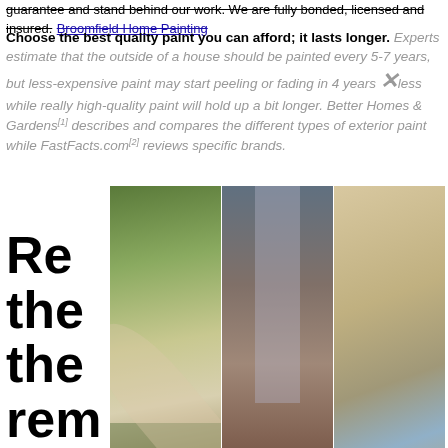guarantee and stand behind our work. We are fully bonded, licensed and insured. Broomfield Home Painting
Choose the best quality paint you can afford; it lasts longer. Experts estimate that the outside of a house should be painted every 5-7 years, but less-expensive paint may start peeling or fading in 4 years or less while really high-quality paint will hold up a bit longer. Better Homes & Gardens[1] describes and compares the different types of exterior paint while FastFacts.com[2] reviews specific brands.
[Figure (photo): Three photos showing people falling off ladders near houses, arranged side by side]
Removing... the... rem... is because many budget conscious homeowners would rather spend time